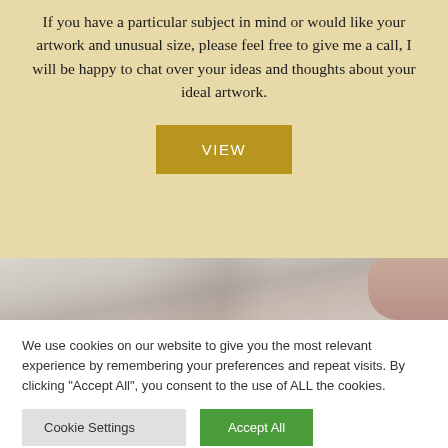If you have a particular subject in mind or would like your artwork and unusual size, please feel free to give me a call, I will be happy to chat over your ideas and thoughts about your ideal artwork.
[Figure (other): Button labeled VIEW with golden/olive background color]
[Figure (photo): Close-up photo of a hand or fingers on a marble or paper surface with grey and white tones]
We use cookies on our website to give you the most relevant experience by remembering your preferences and repeat visits. By clicking “Accept All”, you consent to the use of ALL the cookies.
[Figure (other): Two buttons: 'Cookie Settings' (grey) and 'Accept All' (green)]